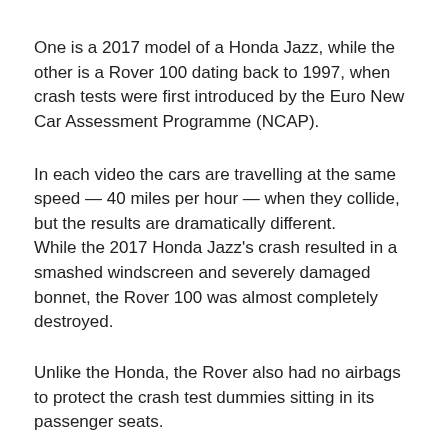One is a 2017 model of a Honda Jazz, while the other is a Rover 100 dating back to 1997, when crash tests were first introduced by the Euro New Car Assessment Programme (NCAP).
In each video the cars are travelling at the same speed — 40 miles per hour — when they collide, but the results are dramatically different.
While the 2017 Honda Jazz's crash resulted in a smashed windscreen and severely damaged bonnet, the Rover 100 was almost completely destroyed.
Unlike the Honda, the Rover also had no airbags to protect the crash test dummies sitting in its passenger seats.